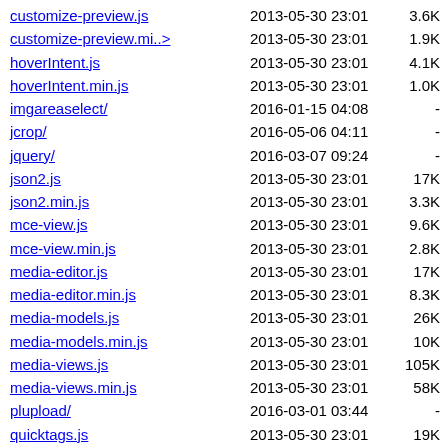customize-preview.js  2013-05-30 23:01  3.6K
customize-preview.mi..>  2013-05-30 23:01  1.9K
hoverIntent.js  2013-05-30 23:01  4.1K
hoverIntent.min.js  2013-05-30 23:01  1.0K
imgareaselect/  2016-01-15 04:08  -
jcrop/  2016-05-06 04:11  -
jquery/  2016-03-07 09:24  -
json2.js  2013-05-30 23:01  17K
json2.min.js  2013-05-30 23:01  3.3K
mce-view.js  2013-05-30 23:01  9.6K
mce-view.min.js  2013-05-30 23:01  2.8K
media-editor.js  2013-05-30 23:01  17K
media-editor.min.js  2013-05-30 23:01  8.3K
media-models.js  2013-05-30 23:01  26K
media-models.min.js  2013-05-30 23:01  10K
media-views.js  2013-05-30 23:01  105K
media-views.min.js  2013-05-30 23:01  58K
plupload/  2016-03-01 03:44  -
quicktags.js  2013-05-30 23:01  19K
quicktags.min.js  2013-05-30 23:01  9.7K
shortcode.js  2013-05-30 23:01  10K